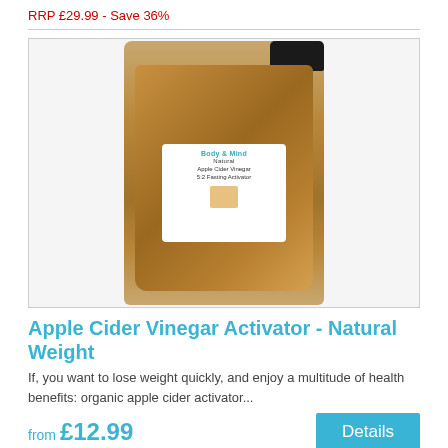RRP £29.99 - Save 36%
[Figure (photo): A brown glass bottle of Apple Cider Vinegar Activator with a black cap and a white label showing 'Body & Mind' branding]
Apple Cider Vinegar Activator - Natural Weight
If, you want to lose weight quickly, and enjoy a multitude of health benefits: organic apple cider activator...
from £12.99
Details